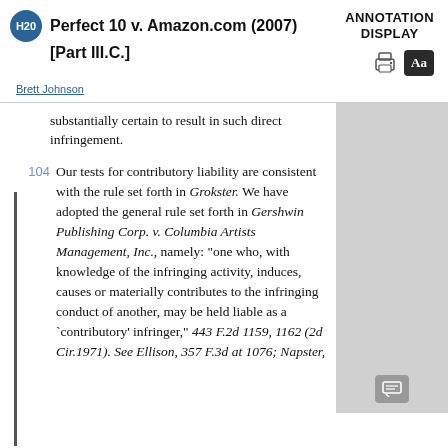Perfect 10 v. Amazon.com (2007) [Part III.C.] — ANNOTATION DISPLAY
Brett Johnson
substantially certain to result in such direct infringement.
104 Our tests for contributory liability are consistent with the rule set forth in Grokster. We have adopted the general rule set forth in Gershwin Publishing Corp. v. Columbia Artists Management, Inc., namely: "one who, with knowledge of the infringing activity, induces, causes or materially contributes to the infringing conduct of another, may be held liable as a `contributory' infringer," 443 F.2d 1159, 1162 (2d Cir.1971). See Ellison, 357 F.3d at 1076; Napster,